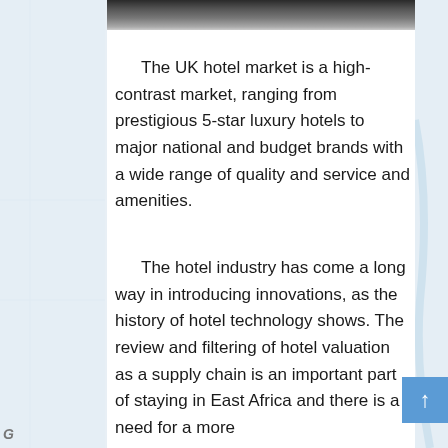[Figure (photo): Partial view of a building or architectural structure with columns/facade, cropped at top of page]
The UK hotel market is a high-contrast market, ranging from prestigious 5-star luxury hotels to major national and budget brands with a wide range of quality and service and amenities.
The hotel industry has come a long way in introducing innovations, as the history of hotel technology shows. The review and filtering of hotel valuation as a supply chain is an important part of staying in East Africa and there is a need for a more